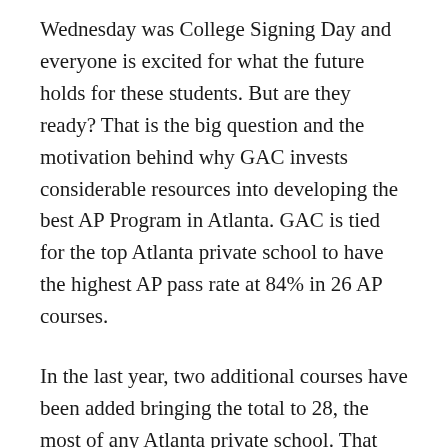Wednesday was College Signing Day and everyone is excited for what the future holds for these students. But are they ready? That is the big question and the motivation behind why GAC invests considerable resources into developing the best AP Program in Atlanta. GAC is tied for the top Atlanta private school to have the highest AP pass rate at 84% in 26 AP courses.
In the last year, two additional courses have been added bringing the total to 28, the most of any Atlanta private school. That means more opportunity for GAC students to better prepare for the academic challenges that await them.
During this week's Academic Awards Night, GAC awarded high school students who have performed at the highest level in the AP Program. Over 30 AP Scholars with differing